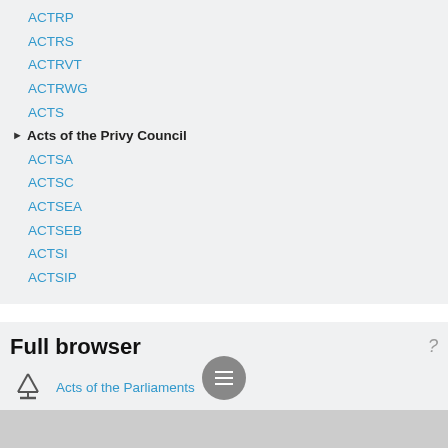ACTRP
ACTRS
ACTRVT
ACTRWG
ACTS
Acts of the Privy Council
ACTSA
ACTSC
ACTSEA
ACTSEB
ACTSI
ACTSIP
Full browser
Acts of the Parliaments
Acts of the Parliaments
Acts of the Parliaments
Acts of the Privy Council